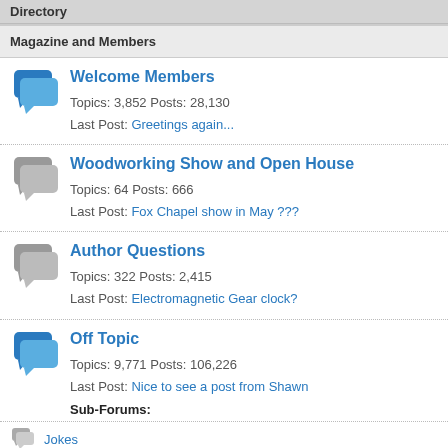Directory
Magazine and Members
Welcome Members
Topics: 3,852 Posts: 28,130
Last Post: Greetings again...
Woodworking Show and Open House
Topics: 64 Posts: 666
Last Post: Fox Chapel show in May ???
Author Questions
Topics: 322 Posts: 2,415
Last Post: Electromagnetic Gear clock?
Off Topic
Topics: 9,771 Posts: 106,226
Last Post: Nice to see a post from Shawn
Sub-Forums:
Jokes